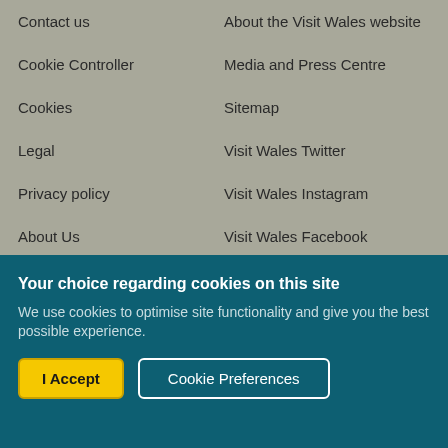Contact us
About the Visit Wales website
Cookie Controller
Media and Press Centre
Cookies
Sitemap
Legal
Visit Wales Twitter
Privacy policy
Visit Wales Instagram
About Us
Visit Wales Facebook
Your choice regarding cookies on this site
We use cookies to optimise site functionality and give you the best possible experience.
I Accept
Cookie Preferences